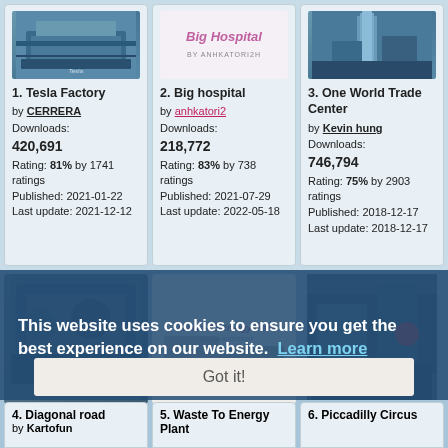[Figure (screenshot): Tesla Factory game screenshot - isometric city builder view]
1. Tesla Factory
by CERRERA
Downloads:
420,691
Rating: 81% by 1741 ratings
Published: 2021-01-22
Last update: 2021-12-12
[Figure (screenshot): Big Hospital logo/cover image on white background]
2. Big hospital
by anhkatori2
Downloads:
218,772
Rating: 83% by 738 ratings
Published: 2021-07-29
Last update: 2022-05-18
[Figure (screenshot): One World Trade Center game screenshot]
3. One World Trade Center
by Kevin hung
Downloads:
746,794
Rating: 75% by 2903 ratings
Published: 2018-12-17
Last update: 2018-12-17
This website uses cookies to ensure you get the best experience on our website.  Learn more
Got it!
4. Diagonal road
by Kartofun
5. Waste To Energy Plant
6. Piccadilly Circus